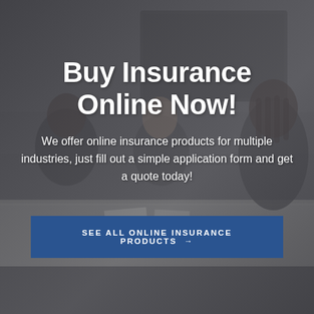[Figure (photo): Dark-toned office meeting room scene with three people seated at a conference table. A large TV/monitor is visible in the background. The image has a dark gray overlay. Two women on the left side and one woman with braided hair on the right side.]
Buy Insurance Online Now!
We offer online insurance products for multiple industries, just fill out a simple application form and get a quote today!
SEE ALL ONLINE INSURANCE PRODUCTS →